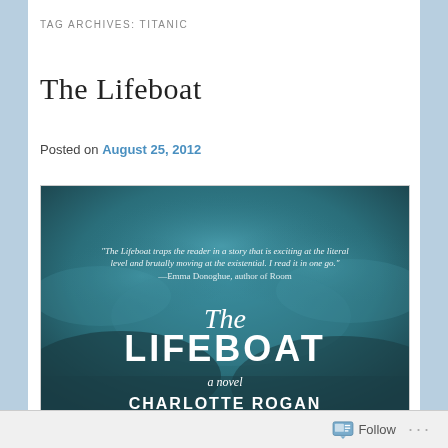TAG ARCHIVES: TITANIC
The Lifeboat
Posted on August 25, 2012
[Figure (photo): Book cover of 'The Lifeboat' — a teal/dark cloudy sky background with a quote from Emma Donoghue at the top, the title 'The Lifeboat' in large white serif font, subtitle 'a novel', and author name 'Charlotte Rogan' partially visible at the bottom.]
Follow